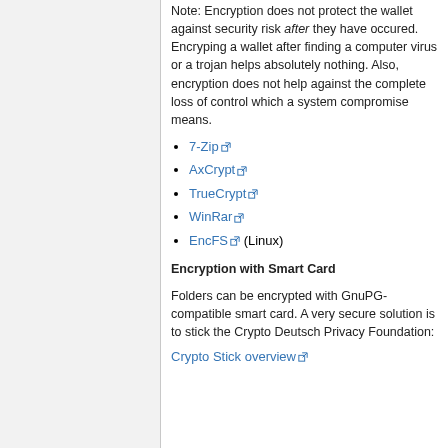Note: Encryption does not protect the wallet against security risk after they have occured. Encryping a wallet after finding a computer virus or a trojan helps absolutely nothing. Also, encryption does not help against the complete loss of control which a system compromise means.
7-Zip
AxCrypt
TrueCrypt
WinRar
EncFS (Linux)
Encryption with Smart Card
Folders can be encrypted with GnuPG-compatible smart card. A very secure solution is to stick the Crypto Deutsch Privacy Foundation:
Crypto Stick overview